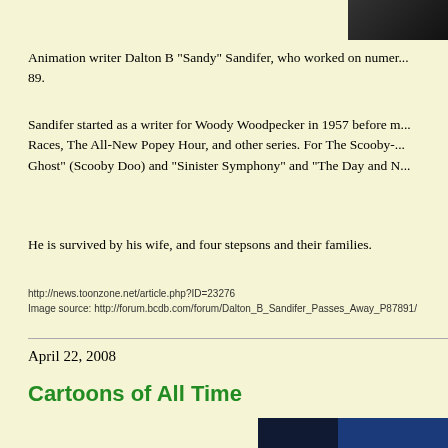[Figure (photo): Partial dark image in upper right corner, appears to be a person or face in shadow]
Animation writer Dalton B "Sandy" Sandifer, who worked on numer... 89.
Sandifer started as a writer for Woody Woodpecker in 1957 before m... Races, The All-New Popey Hour, and other series. For The Scooby-... Ghost" (Scooby Doo) and "Sinister Symphony" and "The Day and N...
He is survived by his wife, and four stepsons and their families.
http://news.toonzone.net/article.php?ID=23276
Image source: http://forum.bcdb.com/forum/Dalton_B_Sandifer_Passes_Away_P87891/
April 22, 2008
Cartoons of All Time
[Figure (illustration): Cartoon character wearing a gold crown, appears to be in a dark blue room, partial view cropped at bottom right of page]